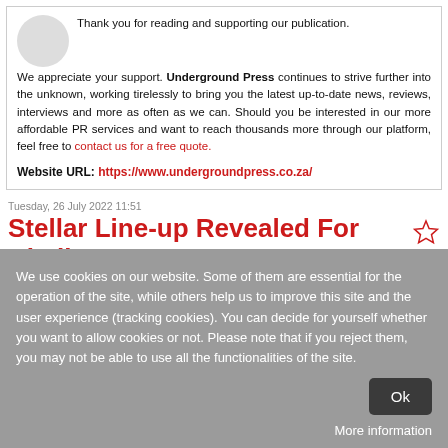Thank you for reading and supporting our publication. We appreciate your support. Underground Press continues to strive further into the unknown, working tirelessly to bring you the latest up-to-date news, reviews, interviews and more as often as we can. Should you be interested in our more affordable PR services and want to reach thousands more through our platform, feel free to contact us for a free quote.
Website URL: https://www.undergroundpress.co.za/
Tuesday, 26 July 2022 11:51
Stellar Line-up Revealed For Bietjie Bos Fees
We use cookies on our website. Some of them are essential for the operation of the site, while others help us to improve this site and the user experience (tracking cookies). You can decide for yourself whether you want to allow cookies or not. Please note that if you reject them, you may not be able to use all the functionalities of the site.